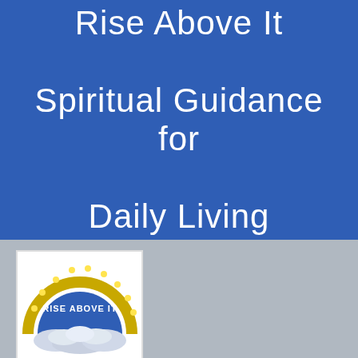Rise Above It Spiritual Guidance for Daily Living
[Figure (logo): Rise Above It circular logo with gold arch, blue text 'RISE ABOVE IT', clouds at the bottom on white background]
Menu
Beyond Ego